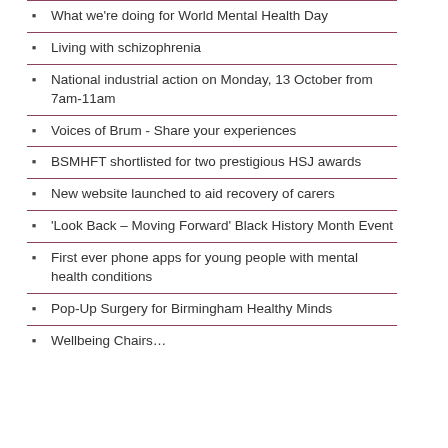What we're doing for World Mental Health Day
Living with schizophrenia
National industrial action on Monday, 13 October from 7am-11am
Voices of Brum - Share your experiences
BSMHFT shortlisted for two prestigious HSJ awards
New website launched to aid recovery of carers
'Look Back – Moving Forward' Black History Month Event
First ever phone apps for young people with mental health conditions
Pop-Up Surgery for Birmingham Healthy Minds
Wellbeing Chairs…